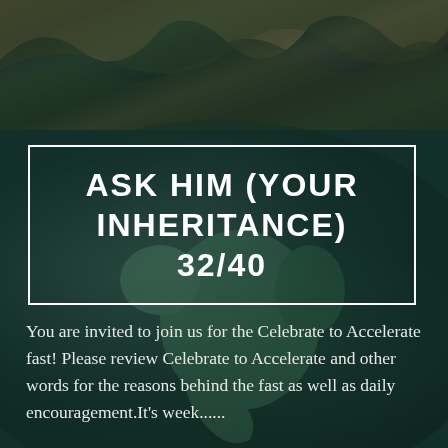[Figure (illustration): Background image showing rocky/mountainous terrain at the top and a view of Earth from space (globe) in the lower portion, with a dark green teal overlay across the entire image.]
ASK HIM (YOUR INHERITANCE) 32/40
You are invited to join us for the Celebrate to Accelerate fast! Please review Celebrate to Accelerate and other words for the reasons behind the fast as well as daily encouragement.It's week......